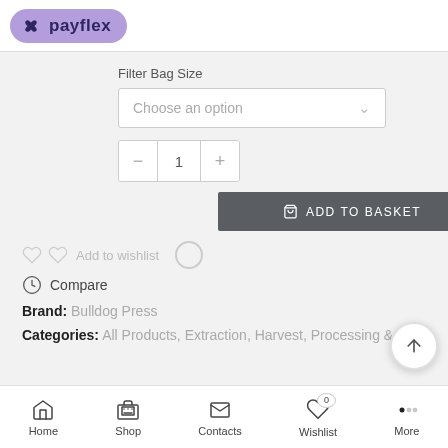[Figure (logo): Payflex logo badge — purple rounded rectangle with white X icon and 'payflex' text in dark purple]
Filter Bag Size
Choose an option
1
ADD TO BASKET
Add to wishlist
Compare
Brand: Bulldog Press
Categories:  All Products,  Extraction,  Harvest,  Processing & Curing
Home  Shop  Contacts  Wishlist  More